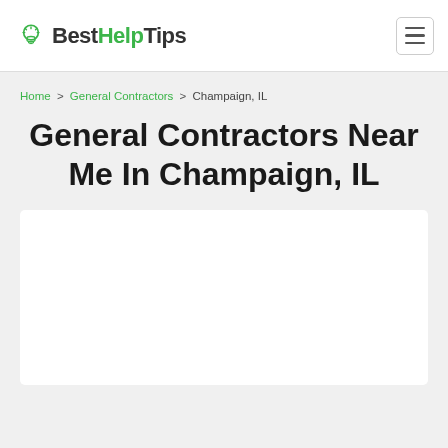BestHelpTips
Home > General Contractors > Champaign, IL
General Contractors Near Me In Champaign, IL
[Figure (other): White advertisement/content box placeholder]